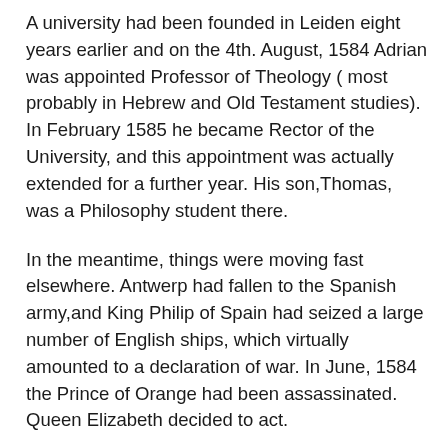A university had been founded in Leiden eight years earlier and on the 4th. August, 1584 Adrian was appointed Professor of Theology ( most probably in Hebrew and Old Testament studies). In February 1585 he became Rector of the University, and this appointment was actually extended for a further year. His son,Thomas, was a Philosophy student there.
In the meantime, things were moving fast elsewhere. Antwerp had fallen to the Spanish army,and King Philip of Spain had seized a large number of English ships, which virtually amounted to a declaration of war. In June, 1584 the Prince of Orange had been assassinated. Queen Elizabeth decided to act.